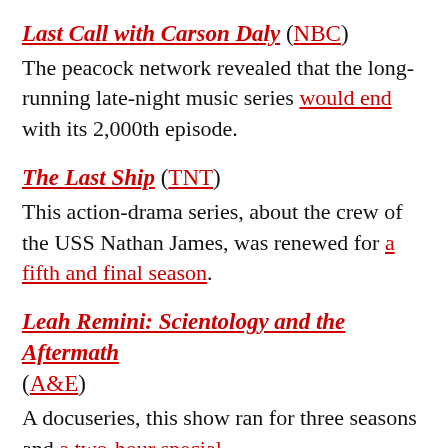Last Call with Carson Daly (NBC)
The peacock network revealed that the long-running late-night music series would end with its 2,000th episode.
The Last Ship (TNT)
This action-drama series, about the crew of the USS Nathan James, was renewed for a fifth and final season.
Leah Remini: Scientology and the Aftermath (A&E)
A docuseries, this show ran for three seasons and a two-hour special.
Legion (FX)